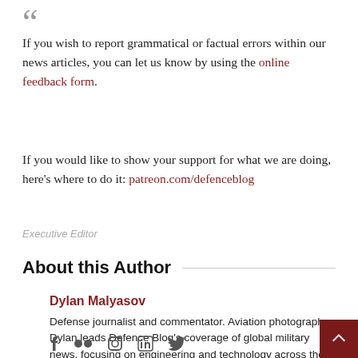If you wish to report grammatical or factual errors within our news articles, you can let us know by using the online feedback form.
If you would like to show your support for what we are doing, here's where to do it: patreon.com/defenceblog
Executive Editor
About this Author
Dylan Malyasov
Defense journalist and commentator. Aviation photographer. Dylan leads Defence Blog's coverage of global military news, focusing on engineering and technology across the U.S. defense industry.